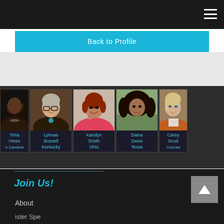Back to Profile
[Figure (photo): Row of 5 headshot photos of women: Trina Hines (North Carolina), Lynnae Bussell (Kentucky), Karolyn Smith (Ohio), Diana Davis (Texas), Carey Scott (Colorado)]
Trina Hines
North Carolina
Lynnae Bussell
Kentucky
Karolyn Smith
Ohio
Diana Davis
Texas
Carey Scott
Colorado
Join Us!
About